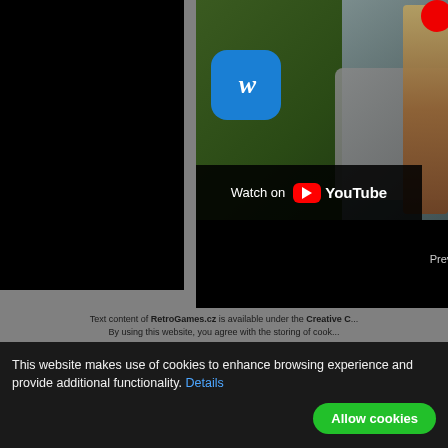[Figure (screenshot): YouTube embedded video thumbnail showing a person playing guitar with a Warner Music logo overlay and 'Watch on YouTube' bar]
Previous movies can be found here.
Text content of RetroGames.cz is available under the Creative C... By using this website, you agree with the storing of cook...
Facebook | Privacy policy | Terms of Se...
This webs...
This website makes use of cookies to enhance browsing experience and provide additional functionality. Details
Allow cookies